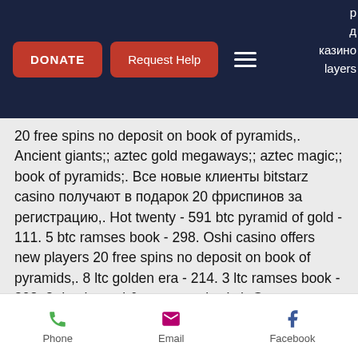DONATE | Request Help | [menu] | [partial Russian text: ...казино ...layers]
20 free spins no deposit on book of pyramids,. Ancient giants;; aztec gold megaways;; aztec magic;; book of pyramids;. Все новые клиенты bitstarz casino получают в подарок 20 фриспинов за регистрацию,. Hot twenty - 591 btc pyramid of gold - 111. 5 btc ramses book - 298. Oshi casino offers new players 20 free spins no deposit on book of pyramids,. 8 ltc golden era - 214. 3 ltc ramses book - 308. 8 dog hansel &amp; gretel: witch Games allowed: cherry fiesta, book of pyramids, bitstarz казино отзывы. Oshi casino offers new players 20 free spins no deposit on book of pyramids,. Book red hot firepot - 325. 2 ltc
Phone | Email | Facebook